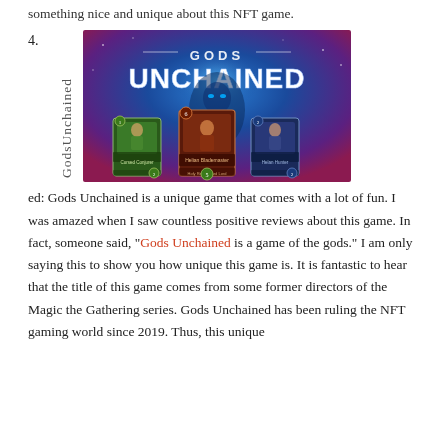something nice and unique about this NFT game.
4. Gods Unchained: Gods Unchained is a unique game that comes with a lot of fun. I was amazed when I saw countless positive reviews about this game. In fact, someone said, “Gods Unchained is a game of the gods.” I am only saying this to show you how unique this game is. It is fantastic to hear that the title of this game comes from some former directors of the Magic the Gathering series. Gods Unchained has been ruling the NFT gaming world since 2019. Thus, this unique
[Figure (screenshot): Gods Unchained game promotional image showing the game logo 'GODS UNCHAINED' in large stylized white text on a blue/purple glowing background, with three trading cards displayed in the lower portion of the image.]